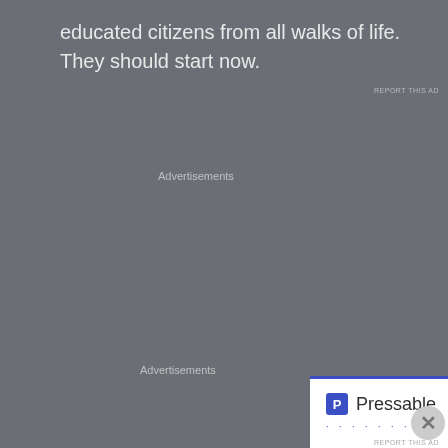educated citizens from all walks of life. They should start now.
Advertisements
[Figure (screenshot): Pressable advertisement: The Platform Where WordPress Works Best, with SEE PRICING button]
Advertisements
[Figure (screenshot): Day One journaling app advertisement: The only journaling app you'll ever need.]